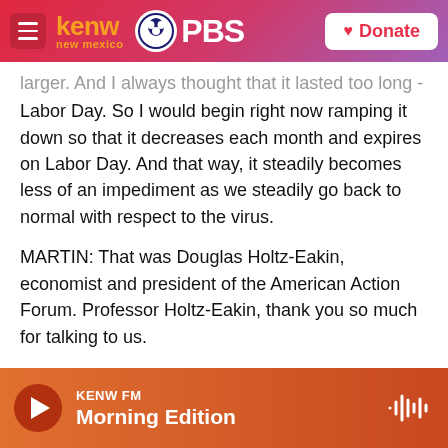kenw new mexico PBS | Donate
larger. And I always thought that it lasted too long - Labor Day. So I would begin right now ramping it down so that it decreases each month and expires on Labor Day. And that way, it steadily becomes less of an impediment as we steadily go back to normal with respect to the virus.
MARTIN: That was Douglas Holtz-Eakin, economist and president of the American Action Forum. Professor Holtz-Eakin, thank you so much for talking to us.
HOLTZ-EAKIN: Thank you.
KENW FM | Morning Edition